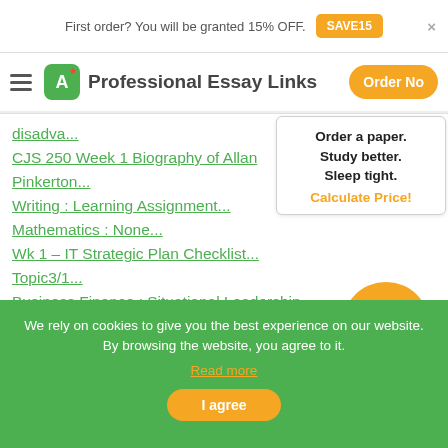First order? You will be granted 15% OFF. SAVE15
Professional Essay Links  Order Now
disadva...
CJS 250 Week 1 Biography of Allan Pinkerton...
Writing : Learning Assignment...
Mathematics : None...
Wk 1 – IT Strategic Plan Checklist...
Topic3/1...
Business Finance : Situational Leadership Theory...
Topic3/1...
Business Finance : Situational Leadership Theory...
Order a paper. Study better. Sleep tight. Calculate Price!
We rely on cookies to give you the best experience on our website. By browsing the website, you agree to it. Read more I agree